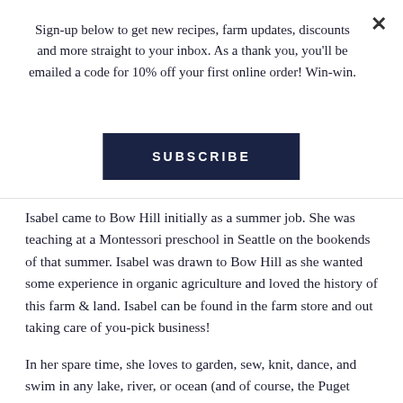Sign-up below to get new recipes, farm updates, discounts and more straight to your inbox. As a thank you, you'll be emailed a code for 10% off your first online order! Win-win.
SUBSCRIBE
Isabel came to Bow Hill initially as a summer job. She was teaching at a Montessori preschool in Seattle on the bookends of that summer. Isabel was drawn to Bow Hill as she wanted some experience in organic agriculture and loved the history of this farm & land. Isabel can be found in the farm store and out taking care of you-pick business!
In her spare time, she loves to garden, sew, knit, dance, and swim in any lake, river, or ocean (and of course, the Puget Sound). She is currently in the process of moving from Seattle to Mount Vernon (we're so happy about that), where she and her partner are building a